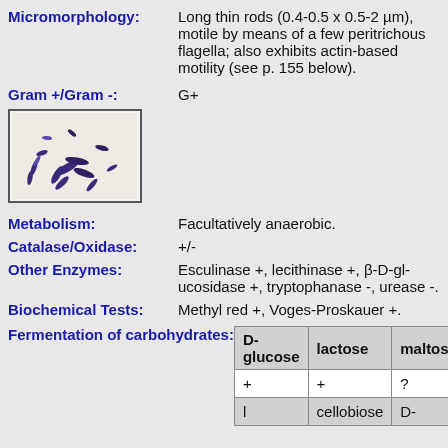Micromorphology: Long thin rods (0.4-0.5 x 0.5-2 µm), motile by means of a few peritrichous flagella; also exhibits actin-based motility (see p. 155 below).
Gram +/Gram -: G+
[Figure (photo): Microscope image showing Gram-stained bacteria appearing as dark purple/blue rod-shaped cells scattered on a light background.]
Metabolism: Facultatively anaerobic.
Catalase/Oxidase: +/-
Other Enzymes: Esculinase +, lecithinase +, β-D-glucosidase +, tryptophanase -, urease -.
Biochemical Tests: Methyl red +, Voges-Proskauer +.
Fermentation of carbohydrates:
| D-glucose | lactose | maltose |
| --- | --- | --- |
| + | + | ? |
| l | cellobiose | D- |